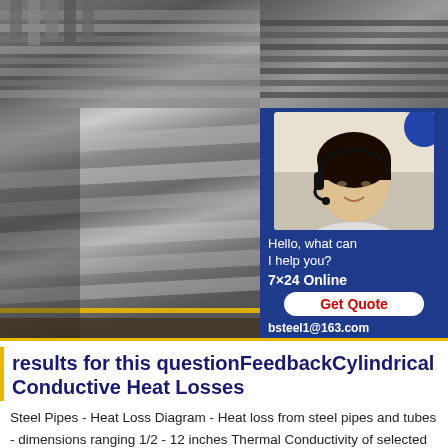[Figure (photo): Top row: two industrial steel/metal photos side by side — left shows metal bars/rods, right shows steel rails or tracks]
[Figure (photo): Steel plates stacked in an industrial yard, left side]
[Figure (infographic): Blue chat/support panel on the right with a customer service agent photo, 7x24 Online text, Get Quote button, and email bsteel1@163.com]
results for this questionFeedbackCylindrical Conductive Heat Losses
Steel Pipes - Heat Loss Diagram - Heat loss from steel pipes and tubes - dimensions ranging 1/2 - 12 inches Thermal Conductivity of selected Materials and Gases - Thermal conductivity of some selected gases,insulation